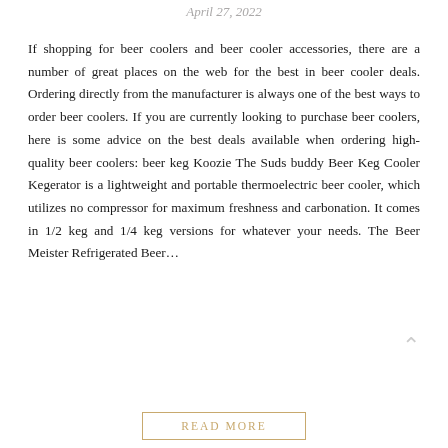April 27, 2022
If shopping for beer coolers and beer cooler accessories, there are a number of great places on the web for the best in beer cooler deals. Ordering directly from the manufacturer is always one of the best ways to order beer coolers. If you are currently looking to purchase beer coolers, here is some advice on the best deals available when ordering high-quality beer coolers: beer keg Koozie The Suds buddy Beer Keg Cooler Kegerator is a lightweight and portable thermoelectric beer cooler, which utilizes no compressor for maximum freshness and carbonation. It comes in 1/2 keg and 1/4 keg versions for whatever your needs. The Beer Meister Refrigerated Beer...
READ MORE